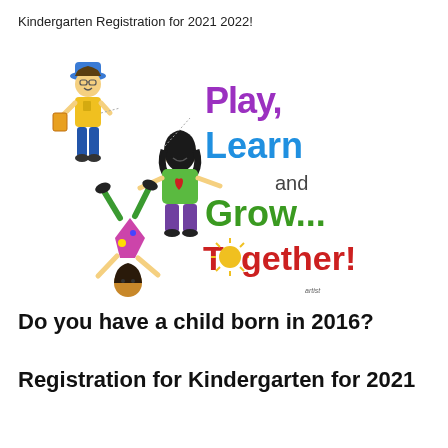Kindergarten Registration for 2021 2022!
[Figure (illustration): Colorful cartoon illustration of three children with text 'Play, Learn and Grow... Together!' in multicolored letters]
Do you have a child born in 2016?
Registration for Kindergarten for 2021